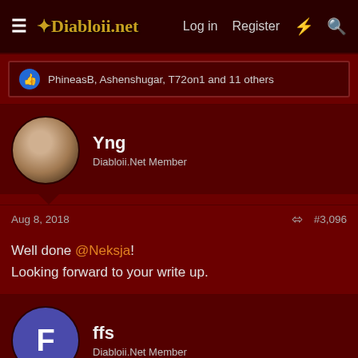Diabloii.net — Log in  Register
PhineasB, Ashenshugar, T72on1 and 11 others
Yng
Diabloii.Net Member
Aug 8, 2018  #3,096
Well done @Neksja!
Looking forward to your write up.
ffs
Diabloii.Net Member
Aug 8, 2018  #3,097
Grats @Neksja!! Well done indeed, coming back out of nowhere